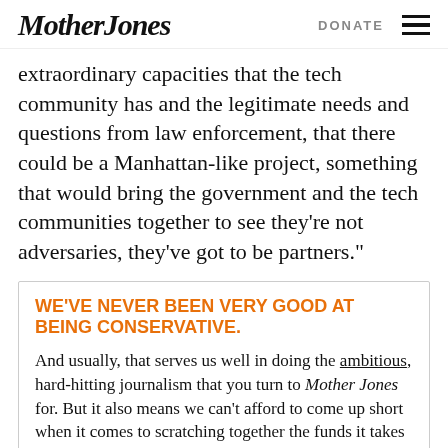Mother Jones | DONATE
extraordinary capacities that the tech community has and the legitimate needs and questions from law enforcement, that there could be a Manhattan-like project, something that would bring the government and the tech communities together to see they’re not adversaries, they’ve got to be partners.”
WE’VE NEVER BEEN VERY GOOD AT BEING CONSERVATIVE.
And usually, that serves us well in doing the ambitious, hard-hitting journalism that you turn to Mother Jones for. But it also means we can’t afford to come up short when it comes to scratching together the funds it takes to keep